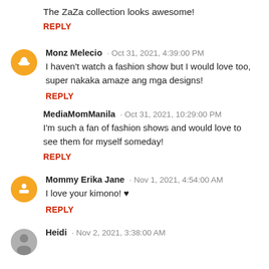The ZaZa collection looks awesome!
REPLY
Monz Melecio · Oct 31, 2021, 4:39:00 PM
I haven't watch a fashion show but I would love too, super nakaka amaze ang mga designs!
REPLY
MediaMomManila · Oct 31, 2021, 10:29:00 PM
I'm such a fan of fashion shows and would love to see them for myself someday!
REPLY
Mommy Erika Jane · Nov 1, 2021, 4:54:00 AM
I love your kimono! ♥
REPLY
Heidi · Nov 2, 2021, 3:38:00 AM